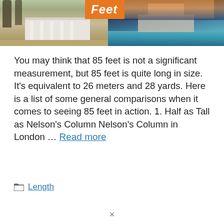[Figure (photo): Split image: left half shows a white colonial-style building with columns and bare trees; right half shows the Trevi Fountain in Rome at dusk/night with blue water. An orange badge with bold italic 'Feet' text overlaps the center top.]
You may think that 85 feet is not a significant measurement, but 85 feet is quite long in size. It's equivalent to 26 meters and 28 yards. Here is a list of some general comparisons when it comes to seeing 85 feet in action. 1. Half as Tall as Nelson's Column Nelson's Column in London … Read more
Length